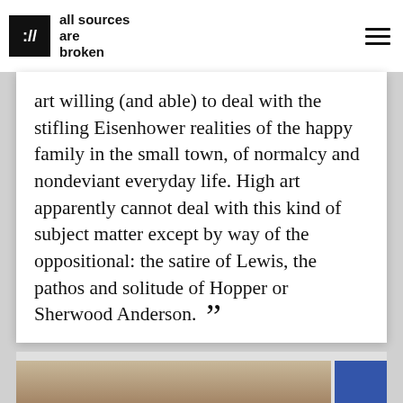all sources are broken
art willing (and able) to deal with the stifling Eisenhower realities of the happy family in the small town, of normalcy and nondeviant everyday life. High art apparently cannot deal with this kind of subject matter except by way of the oppositional: the satire of Lewis, the pathos and solitude of Hopper or Sherwood Anderson. ””
[Figure (photo): Partial bottom strip showing two images partially visible]